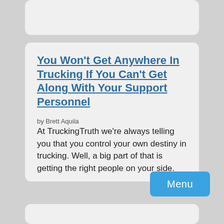You Won't Get Anywhere In Trucking If You Can't Get Along With Your Support Personnel
by Brett Aquila
At TruckingTruth we're always telling you that you control your own destiny in trucking. Well, a big part of that is getting the right people on your side.